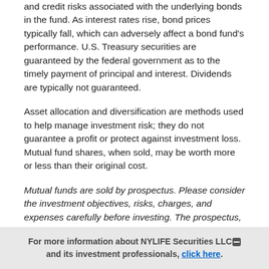and credit risks associated with the underlying bonds in the fund. As interest rates rise, bond prices typically fall, which can adversely affect a bond fund's performance. U.S. Treasury securities are guaranteed by the federal government as to the timely payment of principal and interest. Dividends are typically not guaranteed.
Asset allocation and diversification are methods used to help manage investment risk; they do not guarantee a profit or protect against investment loss. Mutual fund shares, when sold, may be worth more or less than their original cost.
Mutual funds are sold by prospectus. Please consider the investment objectives, risks, charges, and expenses carefully before investing. The prospectus, which contains this and other
For more information about NYLIFE Securities LLC and its investment professionals, click here.